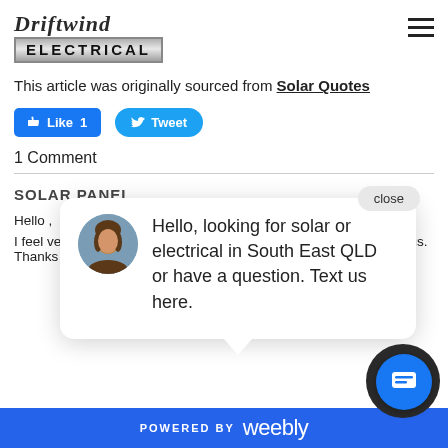[Figure (logo): Driftwind Electrical logo — italic serif 'Driftwind' above 'ELECTRICAL' in a metallic bordered box]
This article was originally sourced from Solar Quotes
[Figure (other): Facebook Like 1 button (blue rounded rectangle) and Twitter Tweet button (blue pill)]
1 Comment
SOLAR PANEL
Hello ,
I feel very happy to read this blog. I think it will be great helpful for us. Thanks for sharing this with us.
[Figure (other): Chat popup overlay with avatar photo of a woman and text: Hello, looking for solar or electrical in South East QLD or have a question. Text us here. With a close button and chat circle button.]
POWERED BY weebly